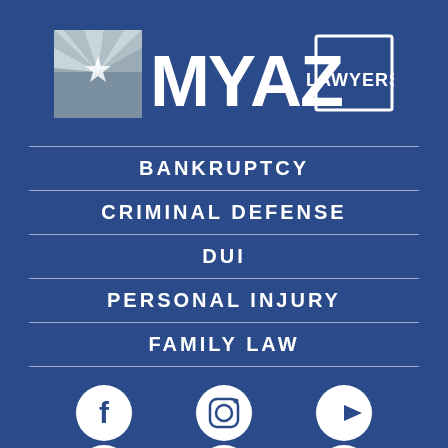[Figure (logo): MY AZ LAWYERS logo with Arizona flag icon on blue background]
BANKRUPTCY
CRIMINAL DEFENSE
DUI
PERSONAL INJURY
FAMILY LAW
[Figure (illustration): Six social media icons in two rows: Facebook, Instagram, YouTube (top row), Google, Avvo, Yelp/columns (bottom row)]